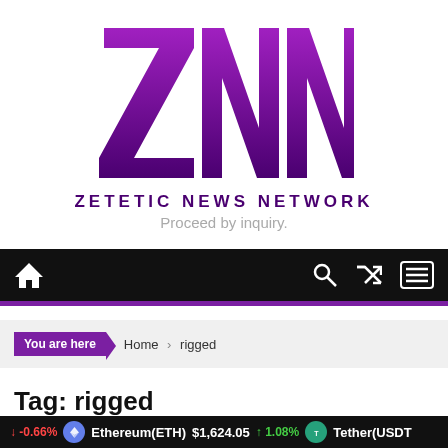[Figure (logo): ZNN Zetetic News Network logo — large purple block letters ZNN above the text ZETETIC NEWS NETWORK]
Proceed by inquiry.
[Figure (screenshot): Navigation bar with home icon on left, search, shuffle, and menu icons on right, on black background]
You are here  Home  rigged
Tag: rigged
-0.66%  Ethereum(ETH) $1,624.05  1.08%  Tether(USDT